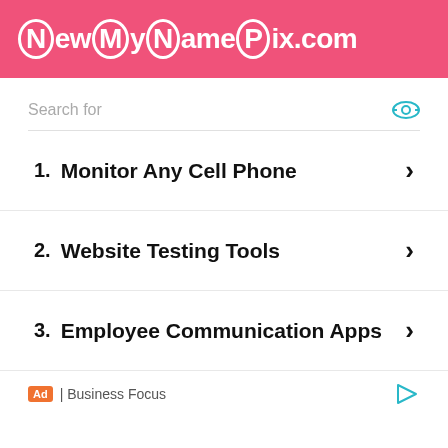[Figure (logo): NewMyNamePix.com logo in white text on pink background]
Search for
1. Monitor Any Cell Phone
2. Website Testing Tools
3. Employee Communication Apps
Ad | Business Focus